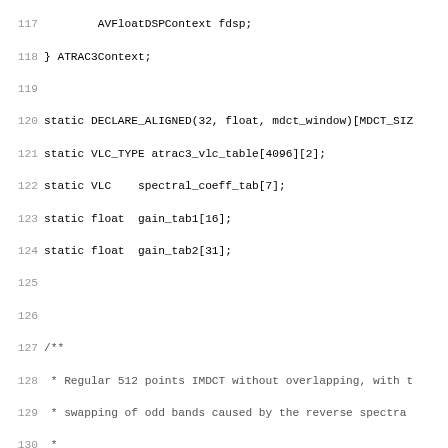[Figure (screenshot): Source code listing in C showing lines 117-148 of an ATRAC3 audio codec implementation. Contains struct definition, static variable declarations, a Doxygen comment block, and the beginning of the imlt() function implementation.]